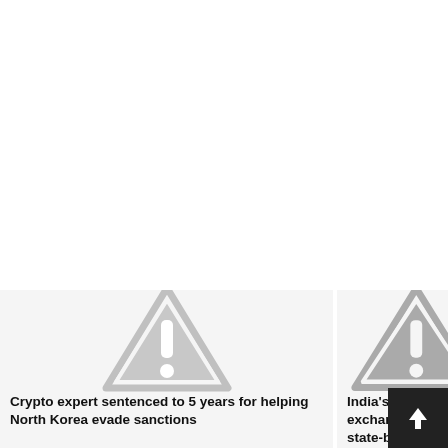[Figure (screenshot): Two news article cards side by side. Left card shows a warning/alert triangle icon (grey, with white exclamation mark) on a light grey background. Right card shows a partially visible similar warning triangle icon (darker grey) on light grey background. A dark scroll-to-top button with an upward arrow is overlaid on the right card.]
Crypto expert sentenced to 5 years for helping North Korea evade sanctions
India's crypto exchange state-backed system, s